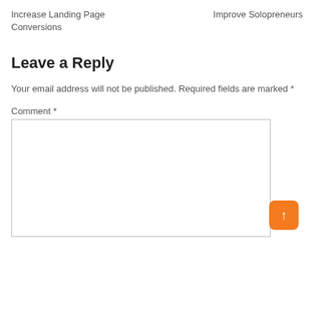Increase Landing Page Conversions
Improve Solopreneurs
Leave a Reply
Your email address will not be published. Required fields are marked *
Comment *